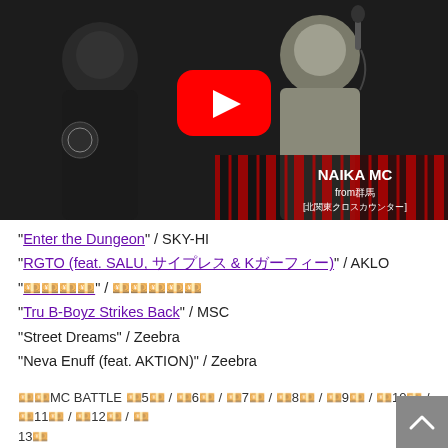[Figure (screenshot): YouTube video thumbnail showing two people, one holding a microphone. Text overlay reads 'NAIKA MC from群馬 [北関東クロスカウンター]'. YouTube play button visible in center.]
“Enter the Dungeon” / SKY-HI
“RGTO (feat. SALU, サイプレス & Kガーフィー)” / AKLO
“フリースタイル” / フリースタイル
“Tru B-Boyz Strikes Back” / MSC
“Street Dreams” / Zeebra
“Neva Enuff (feat. AKTION)” / Zeebra
内容MC BATTLE 第5弾 / 第6弾 / 第7弾 / 第8弾 / 第9弾 / 第10弾 / 第11弾 / 第12弾 / 第13弾